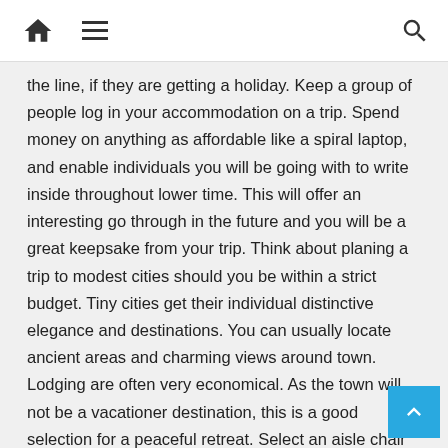[home icon] [menu icon] [search icon]
the line, if they are getting a holiday. Keep a group of people log in your accommodation on a trip. Spend money on anything as affordable like a spiral laptop, and enable individuals you will be going with to write inside throughout lower time. This will offer an interesting go through in the future and you will be a great keepsake from your trip. Think about planing a trip to modest cities should you be within a strict budget. Tiny cities get their individual distinctive elegance and destinations. You can usually locate ancient areas and charming views around town. Lodging are often very economical. As the town will not be a vacationer destination, this is a good selection for a peaceful retreat. Select an aisle chair in the airplane. A windowpane seat carries a look at, but a seat on aisle allows you much more freedom in using your